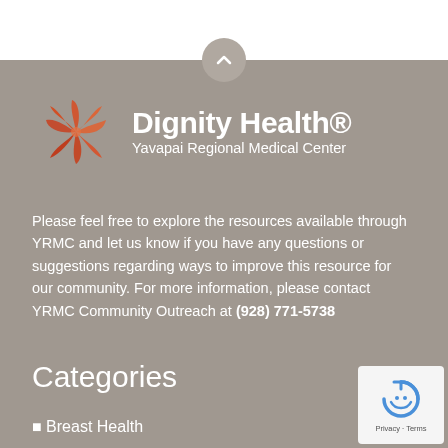[Figure (logo): Dignity Health Yavapai Regional Medical Center logo with orange floral icon and white text on gray-brown background]
Please feel free to explore the resources available through YRMC and let us know if you have any questions or suggestions regarding ways to improve this resource for our community. For more information, please contact YRMC Community Outreach at (928) 771-5738
Categories
Breast Health